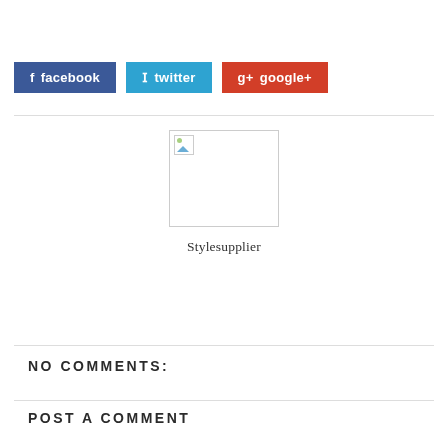[Figure (other): Social share buttons: facebook (blue), twitter (light blue), google+ (red)]
[Figure (photo): Broken/placeholder author image with caption Stylesupplier]
Stylesupplier
NO COMMENTS:
POST A COMMENT